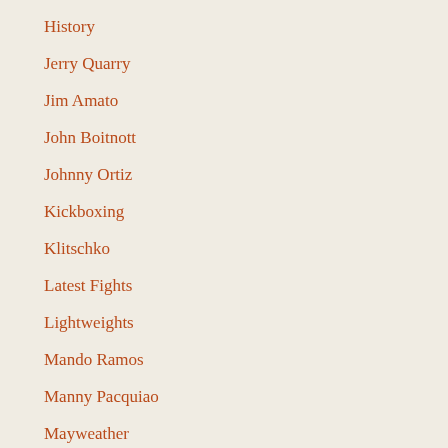History
Jerry Quarry
Jim Amato
John Boitnott
Johnny Ortiz
Kickboxing
Klitschko
Latest Fights
Lightweights
Mando Ramos
Manny Pacquiao
Mayweather
Middleweights
Movies
News